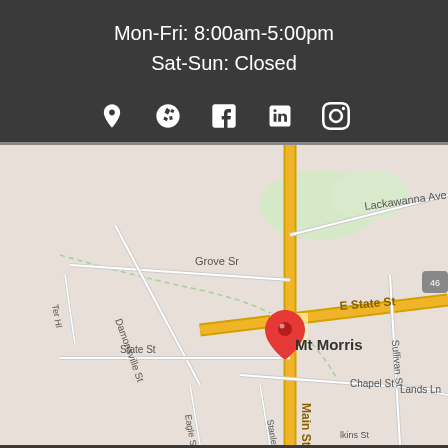Mon-Fri: 8:00am-5:00pm
Sat-Sun: Closed
[Figure (infographic): Social media and location icons row: map pin, Yelp, Facebook, LinkedIn, Instagram]
[Figure (map): Google Maps view of Mt Morris area showing E State St, Main St, Chapel St, Grove St, Lackawanna Ave, Damonsville St, Stanley St, Eagle St, Lands Ln, Sullivan St, with a red location pin marker on Mt Morris]